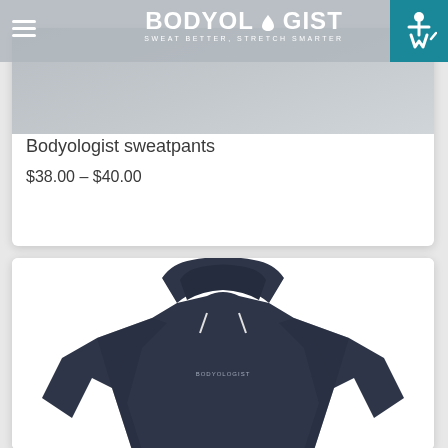BODYOLOGIST — SWEAT BETTER, STRETCH SMARTER
Bodyologist sweatpants
$38.00 – $40.00
[Figure (photo): Navy blue Bodyologist hoodie sweatshirt displayed on a white background, showing the front with a small Bodyologist logo on the chest]